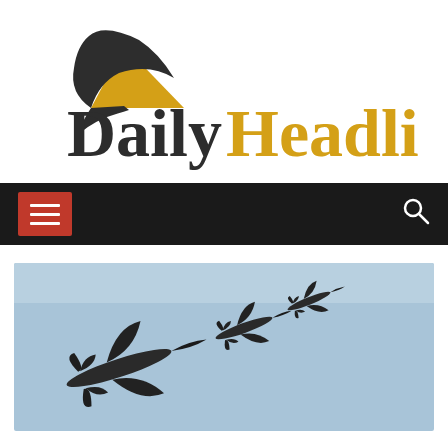[Figure (logo): Daily Headlines logo: black axe/hawk icon above text 'Daily' in dark gray serif and 'Headlines' in gold/yellow serif font]
[Figure (screenshot): Dark navigation bar with red hamburger menu button on the left (three white horizontal lines) and a white search magnifying glass icon on the right]
[Figure (photo): Three military jet aircraft flying in formation against a light blue sky. A large bomber-type aircraft is in the foreground with two smaller fighter jets behind it at higher altitude.]